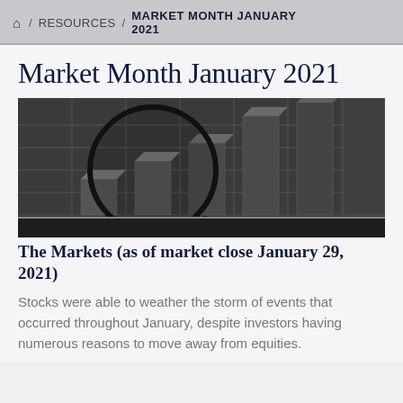🏠 / RESOURCES / MARKET MONTH JANUARY 2021
Market Month January 2021
[Figure (photo): Black and white photograph of bar chart shapes with a circular lens or magnifier overlay, representing financial market data visualization]
The Markets (as of market close January 29, 2021)
Stocks were able to weather the storm of events that occurred throughout January, despite investors having numerous reasons to move away from equities.